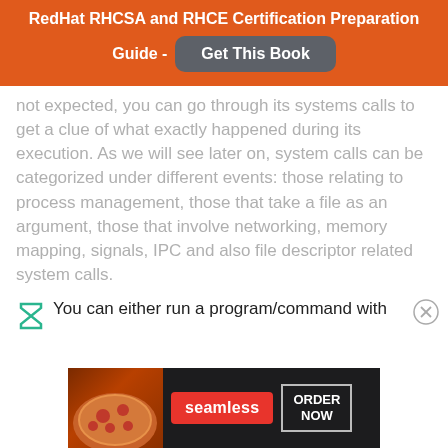RedHat RHCSA and RHCE Certification Preparation Guide - Get This Book
not expected, you can go through its systems calls to get a clue of what exactly happened during its execution. As we will see later on, system calls can be categorized under different events: those relating to process management, those that take a file as an argument, those that involve networking, memory mapping, signals, IPC and also file descriptor related system calls.
You can either run a program/command with
[Figure (advertisement): Seamless food delivery advertisement banner with pizza image, Seamless logo in red, and ORDER NOW button]